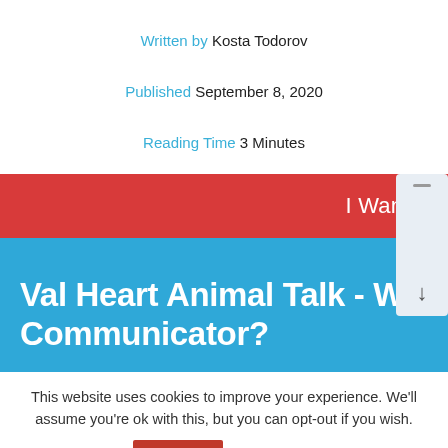Written by Kosta Todorov
Published September 8, 2020
Reading Time 3 Minutes
[Figure (screenshot): Blue banner with red top bar reading 'I Want the Free Ebook' and a scrollbar on the right. Main title reads 'Val Heart Animal Talk - Why work with an Animal Communicator?']
This website uses cookies to improve your experience. We'll assume you're ok with this, but you can opt-out if you wish.
Accept   Read More